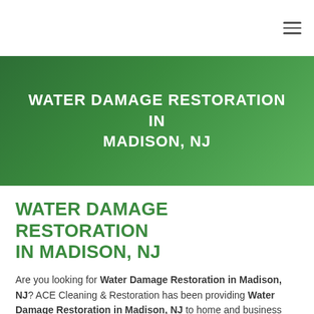[Figure (other): Hamburger menu icon in top-right navigation bar]
WATER DAMAGE RESTORATION IN MADISON, NJ
WATER DAMAGE RESTORATION IN MADISON, NJ
Are you looking for Water Damage Restoration in Madison, NJ? ACE Cleaning & Restoration has been providing Water Damage Restoration in Madison, NJ to home and business owners alike for more than 25 years.